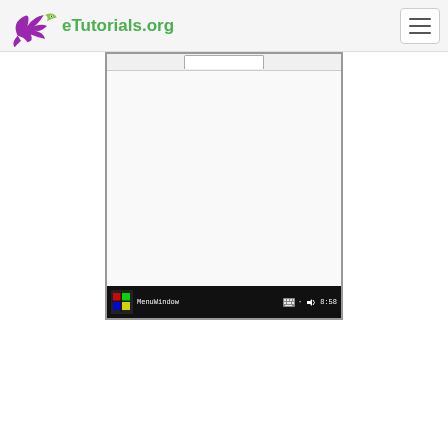eTutorials.org
[Figure (screenshot): A screenshot of a Windows-style desktop window showing a blank content area with a taskbar at the bottom reading 'MenuWindow' with keyboard, volume, and time (8:58) icons, and a tab visible at the top.]